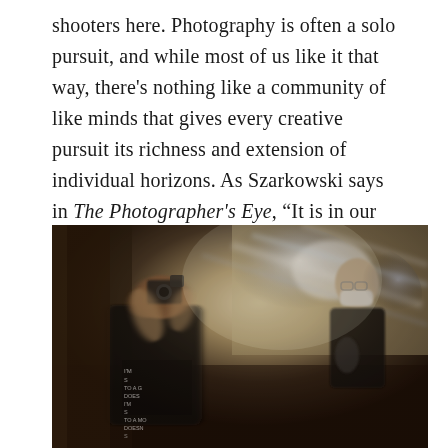shooters here. Photography is often a solo pursuit, and while most of us like it that way, there's nothing like a community of like minds that gives every creative pursuit its richness and extension of individual horizons. As Szarkowski says in The Photographer's Eye, “It is in our progressive discovery of [photography] that its history lies.”
[Figure (photo): A motion-blurred photograph of two people in a dimly lit indoor setting. On the left, a person with curly hair holds a camera up to their face, wearing a black t-shirt with text. On the right, a man in a black shirt and mask stands holding something. The image has heavy motion blur and dramatic lighting streaks.]